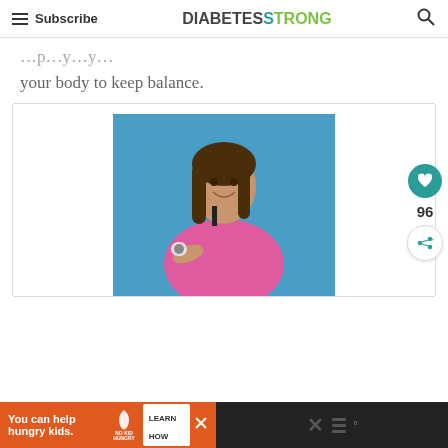Subscribe | DIABETESTRONG
your body to keep balance.
[Figure (photo): A fit woman in a pink tank top with arms crossed, smiling, against a blue wall. She has a continuous glucose monitor on her upper arm.]
You can help hungry kids. NO KID HUNGRY LEARN HOW